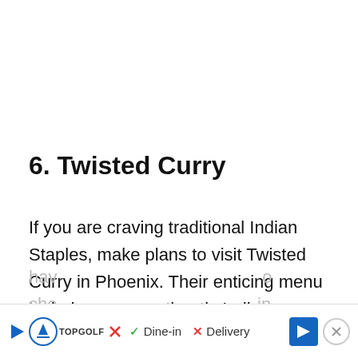6. Twisted Curry
If you are craving traditional Indian Staples, make plans to visit Twisted Curry in Phoenix. Their enticing menu includes many authentic Indian dishes. From the appetizers to the entrees, they hav... cho... in...
Topgolf ad — Dine-in | Delivery